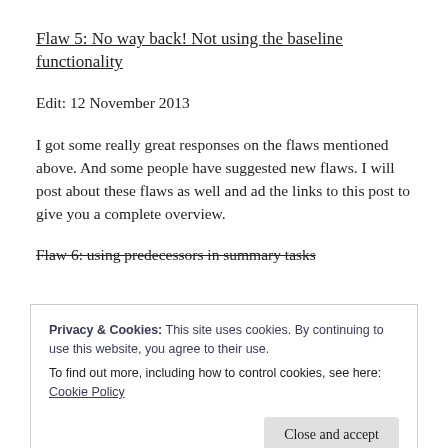Flaw 5: No way back! Not using the baseline functionality
Edit: 12 November 2013
I got some really great responses on the flaws mentioned above. And some people have suggested new flaws. I will post about these flaws as well and ad the links to this post to give you a complete overview.
Flaw 6: using predecessors in summary tasks
Privacy & Cookies: This site uses cookies. By continuing to use this website, you agree to their use.
To find out more, including how to control cookies, see here: Cookie Policy
Close and accept
are two suggestions for more: